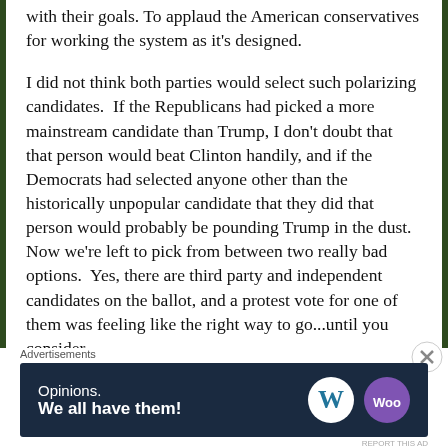with their goals. To applaud the American conservatives for working the system as it's designed.
I did not think both parties would select such polarizing candidates. If the Republicans had picked a more mainstream candidate than Trump, I don't doubt that that person would beat Clinton handily, and if the Democrats had selected anyone other than the historically unpopular candidate that they did that person would probably be pounding Trump in the dust. Now we're left to pick from between two really bad options. Yes, there are third party and independent candidates on the ballot, and a protest vote for one of them was feeling like the right way to go...until you consider
Advertisements
[Figure (other): Advertisement banner with dark navy background. Text reads 'Opinions. We all have them!' with WordPress logo and WooCommerce logo on the right.]